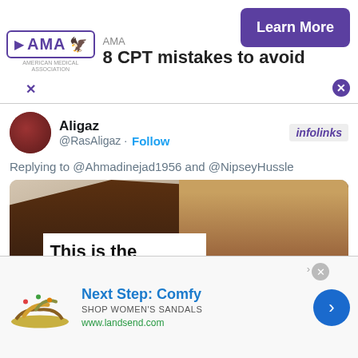[Figure (screenshot): AMA advertisement banner at top: AMA logo on left, text '8 CPT mistakes to avoid' in bold, 'Learn More' purple button on right, with close X button]
Aligaz
@RasAligaz · Follow
infolinks
Replying to @Ahmadinejad1956 and @NipseyHussle
[Figure (photo): Photo of a person holding a white sign with text 'This is the type of content' visible, with overlay banner reading 'Black Is Beautiful exhibit showcases pi...' and infolinks badge in bottom left]
[Figure (screenshot): Bottom advertisement: Next Step: Comfy - SHOP WOMEN'S SANDALS - www.landsend.com with sandal image and blue arrow button]